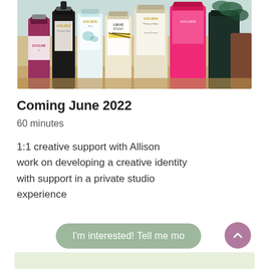[Figure (photo): Photo of various paint bottles and art supplies including Golden, Lukas Studio, and Ecoline brands arranged on a table]
Coming June 2022
60 minutes
1:1 creative support with Allison work on developing a creative identity with support in a private studio experience
I'm interested! Tell me mo...